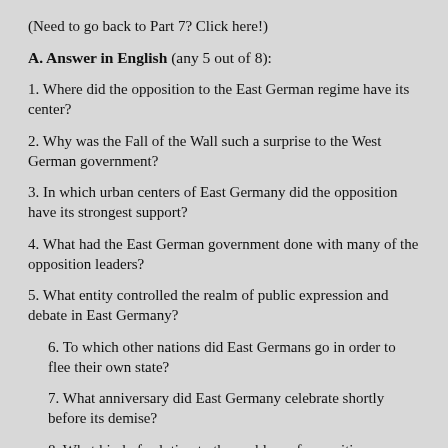(Need to go back to Part 7? Click here!)
A. Answer in English (any 5 out of 8):
1. Where did the opposition to the East German regime have its center?
2. Why was the Fall of the Wall such a surprise to the West German government?
3. In which urban centers of East Germany did the opposition have its strongest support?
4. What had the East German government done with many of the opposition leaders?
5. What entity controlled the realm of public expression and debate in East Germany?
6. To which other nations did East Germans go in order to flee their own state?
7. What anniversary did East Germany celebrate shortly before its demise?
8. What kind of solution to the problem of opposition